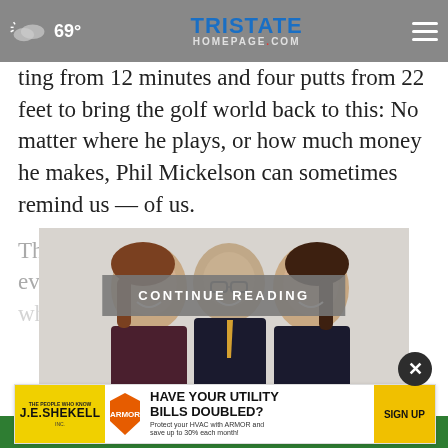69° | Tristate Homepage.com
ting from 12 minutes and four putts from 22 feet to bring the golf world back to this: No matter where he plays, or how much money he makes, Phil Mickelson can sometimes remind us — of us.
The player who [CONTINUE READING] everyman — who to risk it… at looked
[Figure (photo): Three people (two women and one man in the middle) smiling for a photo, dressed professionally. A green banner partially visible below them.]
[Figure (other): Advertisement banner: J.E. Shekell and Armor HVAC — 'Have Your Utility Bills Doubled? Protect your HVAC with ARMOR and save up to 30% each month! SIGN UP']